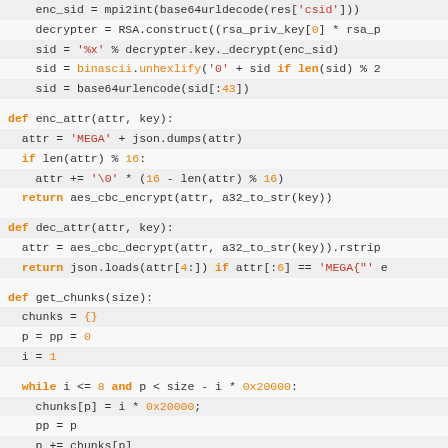Code snippet showing Python functions: enc_attr, dec_attr, get_chunks with RSA/AES encryption and chunking logic